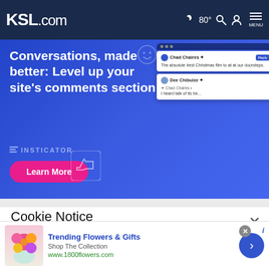KSL.com  🌙 80° 🔍 👤 MENU
[Figure (screenshot): Insticator advertisement banner with blue background. Text reads: 'Conversations, made better: Level up your site's comments section'. INSTICATOR logo. Pink 'Learn More' button. Right side shows mockup comment cards with user Chad Chaires and Dee Chibuize.]
Cookie Notice
We use cookies to improve your experience, analyze site traffic, and to personalize content and ads. By continuing to use our site, you consent to our use of cookies. Please visit our Terms of Use and  Privacy Policy for more information
[Figure (screenshot): Bottom advertisement bar for 1800flowers.com. Shows flower bouquet image on left. Text: 'Trending Flowers & Gifts', 'Shop The Collection', 'www.1800flowers.com'. Blue circular arrow button on right.]